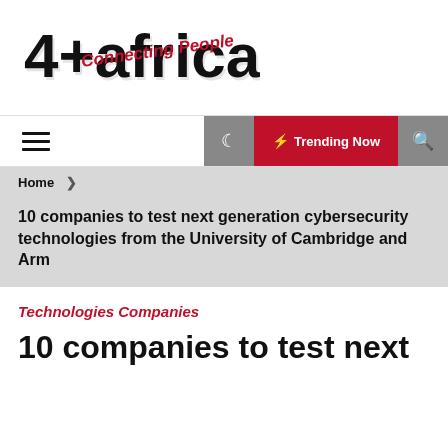[Figure (logo): 4-africa Tech logo with text '4+africa Tech' and 'Connecting People' tagline in red]
☰  ☽  ⚡ Trending Now  🔍
Home >
10 companies to test next generation cybersecurity technologies from the University of Cambridge and Arm
Technologies Companies
10 companies to test next